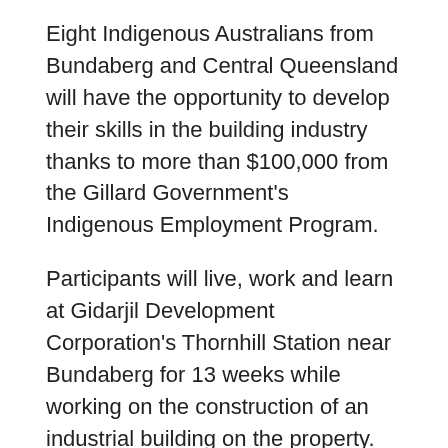Eight Indigenous Australians from Bundaberg and Central Queensland will have the opportunity to develop their skills in the building industry thanks to more than $100,000 from the Gillard Government's Indigenous Employment Program.
Participants will live, work and learn at Gidarjil Development Corporation's Thornhill Station near Bundaberg for 13 weeks while working on the construction of an industrial building on the property.
The Minister for Indigenous Employment and Economic Development, Julie Collins, and the Senator for Queensland, John Hogg, said the participants' training will count towards a Certificate